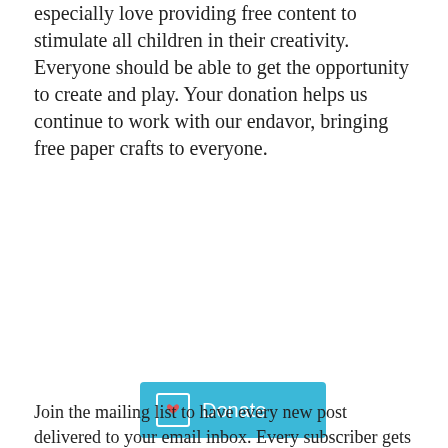especially love providing free content to stimulate all children in their creativity. Everyone should be able to get the opportunity to create and play. Your donation helps us continue to work with our endavor, bringing free paper crafts to everyone.
[Figure (other): Donate button with PayPal-style icon and heart, teal/blue background, white text reading 'Donate']
[Figure (infographic): Banner with beige background showing bold text: 'JOIN THE MAILING LIST AND RECEIVE MY AWESOME PAPER CRAFTS BUNDLE FOR FREE!' with cyan FREE! text, and a product box image on the right labeled 'Paper Crafts BUNDLE']
Join the mailing list to have every new post delivered to your email inbox. Every subscriber gets a FREE bundle of paper